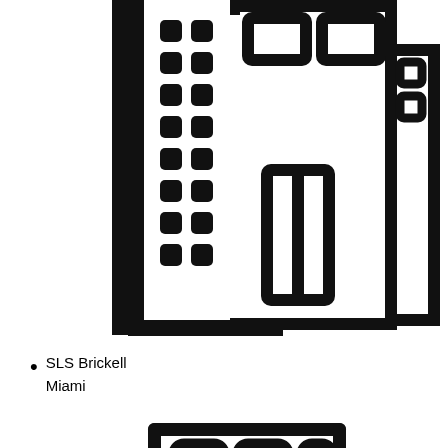[Figure (illustration): Black and white icon illustration of a city building/hotel complex, top portion cropped, showing multi-story buildings with windows]
SLS Brickell
Miami
[Figure (illustration): Black and white icon illustration of SLS Brickell Miami - a city skyline with multiple buildings including a tall central tower with grid windows and smaller flanking buildings]